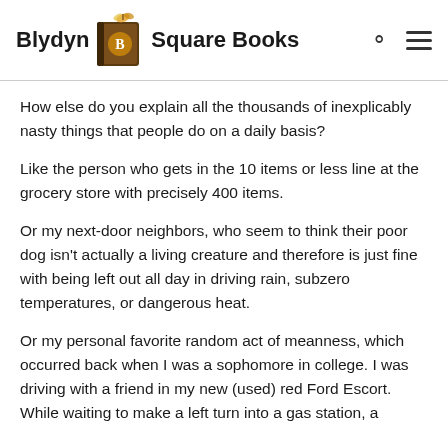Blydyn Square Books
How else do you explain all the thousands of inexplicably nasty things that people do on a daily basis?
Like the person who gets in the 10 items or less line at the grocery store with precisely 400 items.
Or my next-door neighbors, who seem to think their poor dog isn’t actually a living creature and therefore is just fine with being left out all day in driving rain, subzero temperatures, or dangerous heat.
Or my personal favorite random act of meanness, which occurred back when I was a sophomore in college. I was driving with a friend in my new (used) red Ford Escort. While waiting to make a left turn into a gas station, a